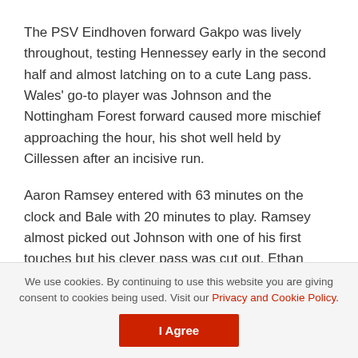The PSV Eindhoven forward Gakpo was lively throughout, testing Hennessey early in the second half and almost latching on to a cute Lang pass. Wales' go-to player was Johnson and the Nottingham Forest forward caused more mischief approaching the hour, his shot well held by Cillessen after an incisive run.
Aaron Ramsey entered with 63 minutes on the clock and Bale with 20 minutes to play. Ramsey almost picked out Johnson with one of his first touches but his clever pass was cut out. Ethan Ampadu skewed wide and Wilson was unfortunate a deflection took the sting out of his strike as Wales grew in confidence.
We use cookies. By continuing to use this website you are giving consent to cookies being used. Visit our Privacy and Cookie Policy.